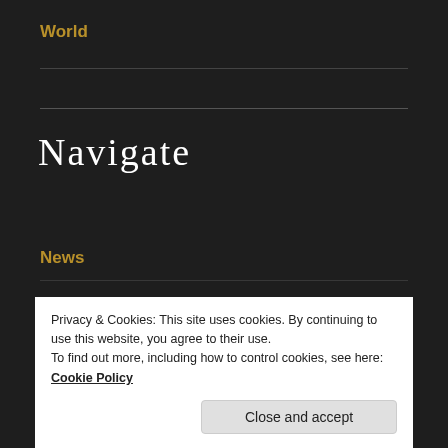World
Navigate
News
About us
CosmoPolite LIVE
CosmoPolite Research
Privacy & Cookies: This site uses cookies. By continuing to use this website, you agree to their use.
To find out more, including how to control cookies, see here: Cookie Policy
Close and accept